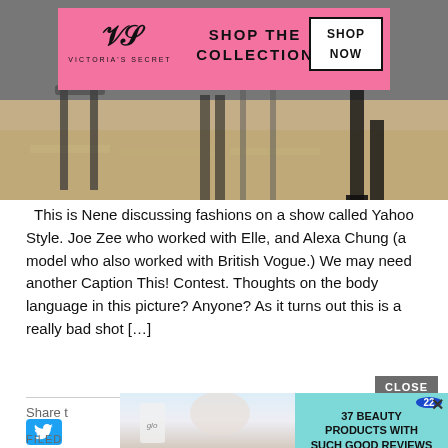[Figure (photo): Hero image showing people's legs near transparent chairs on a wood floor, with a Victoria's Secret advertisement banner overlaid at the top]
This is Nene discussing fashions on a show called Yahoo Style. Joe Zee who worked with Elle, and Alexa Chung (a model who also worked with British Vogue.) We may need another Caption This! Contest.  Thoughts on the body language in this picture? Anyone? As it turns out this is a really bad shot [...]
Share t
[Figure (screenshot): Bottom advertisement showing beauty products with text: 37 BEAUTY PRODUCTS WITH SUCH GOOD REVIEWS YOU MIGHT WANT TO TRY THEM YOURSELF, with badge showing 22]
FILED